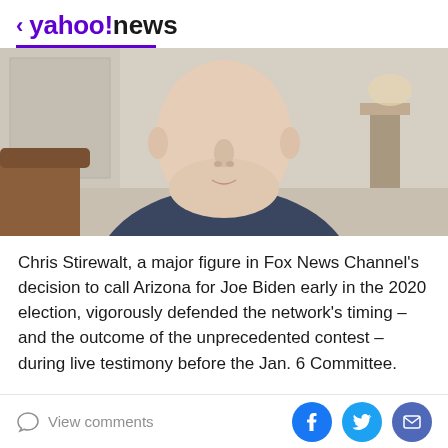< yahoo!news
[Figure (photo): A man wearing a blue suit jacket and a pink/magenta bow tie, shown from the shoulders up against an indoor background with furniture visible.]
Chris Stirewalt, a major figure in Fox News Channel's decision to call Arizona for Joe Biden early in the 2020 election, vigorously defended the network's timing – and the outcome of the unprecedented contest – during live testimony before the Jan. 6 Committee.
The first question Stirewalt was asked: Who won the
View comments